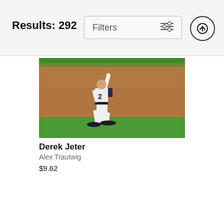Results: 292
[Figure (photo): Baseball player wearing New York Yankees pinstripe uniform with number 2, walking on field with one arm raised, viewed from behind. Green grass in foreground and background, brown dirt infield visible.]
Derek Jeter
Alex Trautwig
$9.62